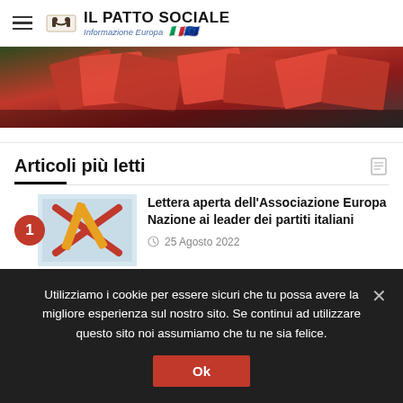IL PATTO SOCIALE – Informazione Europa
[Figure (photo): Red election ballots/papers on a dark background, hero image strip]
Articoli più letti
Lettera aperta dell'Associazione Europa Nazione ai leader dei partiti italiani
25 Agosto 2022
Utilizziamo i cookie per essere sicuri che tu possa avere la migliore esperienza sul nostro sito. Se continui ad utilizzare questo sito noi assumiamo che tu ne sia felice.
Ok